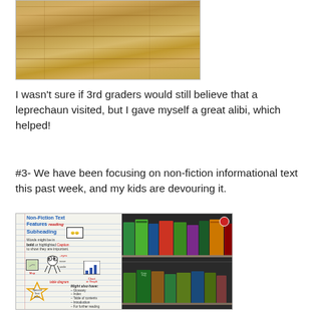[Figure (photo): Close-up photo of a wooden desk surface with wood grain texture]
I wasn't sure if 3rd graders would still believe that a leprechaun visited, but I gave myself a great alibi, which helped!
#3- We have been focusing on non-fiction informational text this past week, and my kids are devouring it.
[Figure (photo): Two-panel photo: left shows a hand-drawn anchor chart titled 'Non-Fiction Text Features' with subheading, caption, map, table diagram, chart or graph, special text box, and bullet list including glossary, index, table of contents, introduction, for further reading; right shows two shelves of non-fiction books for kids]